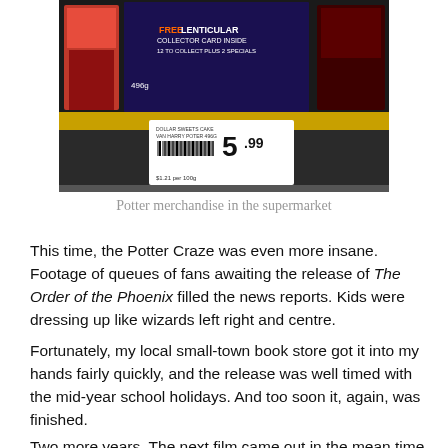[Figure (photo): Photo of a supermarket shelf showing a Harry Potter themed snack product with a price tag reading 5.99 and a label saying FREE LENTICULAR COLLECTOR CARD INSIDE 12 TO COLLECT PLUS 2 SPECIALS, 496g, $1.21 per 100g]
Potter merchandise in the supermarket
This time, the Potter Craze was even more insane. Footage of queues of fans awaiting the release of The Order of the Phoenix filled the news reports. Kids were dressing up like wizards left right and centre.
Fortunately, my local small-town book store got it into my hands fairly quickly, and the release was well timed with the mid-year school holidays. And too soon it, again, was finished.
Two more years. The next film came out in the mean time